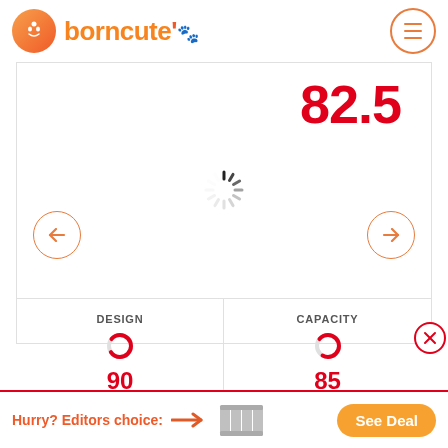[Figure (logo): borncute logo with orange gradient circle avatar icon and orange brand name text]
82.5
[Figure (infographic): Loading spinner (animated dots in circle pattern)]
DESIGN
[Figure (infographic): Orange ring progress indicator]
90
CAPACITY
[Figure (infographic): Orange ring progress indicator]
85
EASE OF USE
VALUE
Hurry? Editors choice:
See Deal